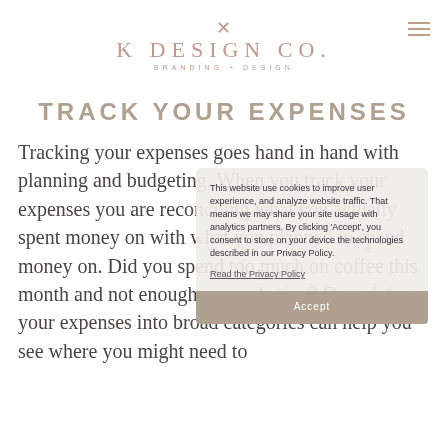K DESIGN CO. BRANDING + DESIGN
TRACK YOUR EXPENSES
Tracking your expenses goes hand in hand with planning and budgeting. When you track your expenses you are reconciling what you actually spent money on with what you planned to spend money on. Did you spend too much on coffee this month and not enough on marketing? Organizing your expenses into broad categories can help you see where you might need to
This website use cookies to improve user experience, and analyze website traffic. That means we may share your site usage with analytics partners. By clicking 'Accept', you consent to store on your device the technologies described in our Privacy Policy. Read the Privacy Policy Accept